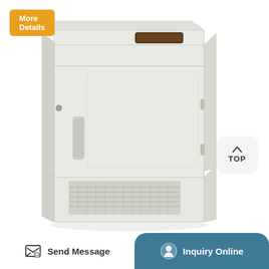More Details
[Figure (photo): Laboratory ultra-low temperature freezer, beige/white color, upright style with front door handle, ventilation grille at bottom, and digital display panel on top. TOP navigation button visible on right side.]
TOP
Send Message
Inquiry Online